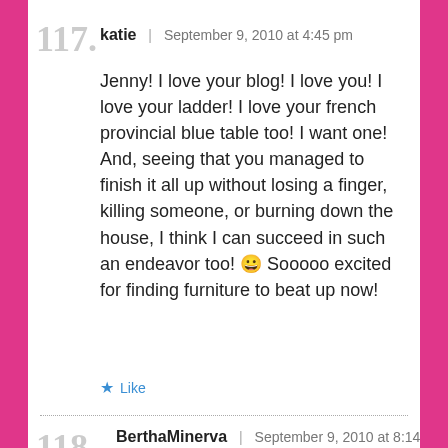117.
katie | September 9, 2010 at 4:45 pm
Jenny! I love your blog! I love you! I love your ladder! I love your french provincial blue table too! I want one! And, seeing that you managed to finish it all up without losing a finger, killing someone, or burning down the house, I think I can succeed in such an endeavor too! 😀 Sooooo excited for finding furniture to beat up now!
Like
118.
BerthaMinerva | September 9, 2010 at 8:14 pm
What is it about pests and Labor Day? The one time a rat crawled out of our toilet into the house.